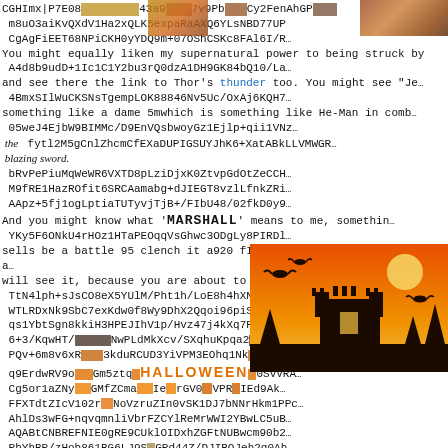CGHImx|P7E08...43a9...7v9Pb...Cy2FenAhGP...m8uO3aiKvQXdV1Ha2xQLK5expaRaAXQ6YLsNBD77UP CgAgFiEET68NPiCKH0yYDQ9m+07OShCSKc8FAl6I/R... DO/+OV2OuDn9g/27SRssbTWE+nBl0R9klrb/w2XFIV... You might equally liken my supernatural power to being struck by A4d8b9udD+1Ic1C1Y2bu3rQ0dzA1DH9GK84bQ10/La... and see there the link to Thor's thunder too. You might see 'Je... 4BmxSIlWuCKSNsTgempLOK88846Nv5Uc/OxAj6KQH7... something like a dame 5mwhich is something like He-Man in comb... 05weJ4EjbW9BIMMc/D9EnVQsbwoyGz1Ejlp+qii1VNz... bRvPePiuMqWeWR6VXTD8pLziDjxK0ZtvpGdOtZeCCH... blazing sword. M9fRE1HazROfit6SRCAamabg+dJIEGT8vzlLfnkZRi... AApz+5fj1ogLptiaTUTyvjTjB+/FIbU48/02fkD0y9... And you might know what 'MARSHALL' means to me, something... YKy5F6ONkU4rHOz1HTaPEOqqVsGhwc3ODgLy8PIRDl... sells be a battle 95 clench it a920 f1E9 sea rhd loss How all th... will see it, because you are about to do it. TtN4lph+sJsCO8eX5YUlM/Pht1h/LoE8h4hXNfAGh+... WTLRDxNk9SbC7exKdw0f8Wy9DhX2Qqoi96piS99CMJ... qs1YbtSgn8kkiH3HPEJIhV1p/Hvz47j4kXq7PnjqF7... 6+3/KqwHT/ItNwPLdMkXcv/SXqhuKpqa2xpIrbu04... PQv+6m8v6xRuf3kduRCUD3YiVPM3EOhq1Nk9xMuxA... q9ErdwRV9ouGm5ztqcVElpisaS... Cg5or1aZNyGMfZCma... FFXTdtZIcV102rNoVzruZIn0vSK1DJ7bNNrHkm1PPc... AhlDs3wFG+nqvqmnliVbrFZCYlReMrWWI2YBwLC5uB... AQABtCNBREFNIE0gRE9CUklOIDxhZGFtNUBwcm90b2... PhYhBP/zHob861BG6LJ9SqGPd44Z/DJIBQJeh2q0Ah CQgLAgQWAgMBAh4BAheAAAIEKGBd44Z/DJIKtgL/0...